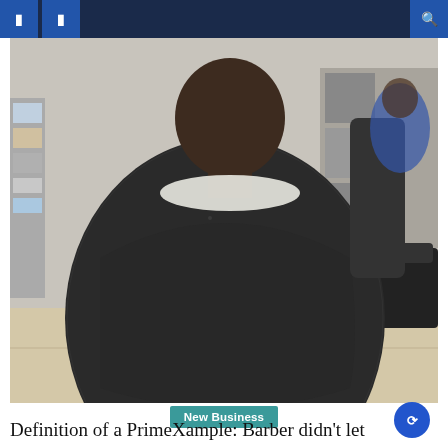navigation bar with icons
[Figure (photo): Person sitting in a barber chair at a barbershop, covered with a large dark barber cape. The barber shop interior is visible in the background with supplies, shelving, and a black couch.]
New Business
Definition of a PrimeXample: Barber didn't let